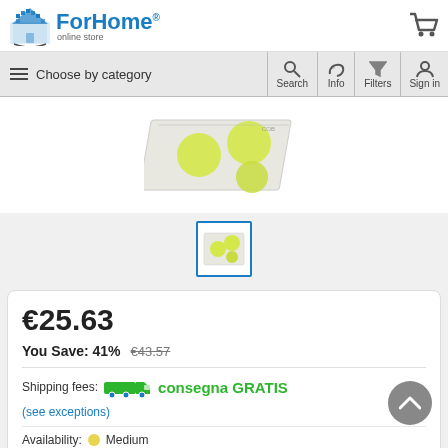[Figure (logo): ForHome online store logo with house icon]
Choose by category | Search | Info | Filters | Sign in
[Figure (photo): Product image: LED COB module board with circular chips on white background]
[Figure (photo): Thumbnail of the product image with blue border]
€25.63
You Save: 41%  €43.57
Shipping fees: consegna GRATIS
(see exceptions)
Availability: Medium